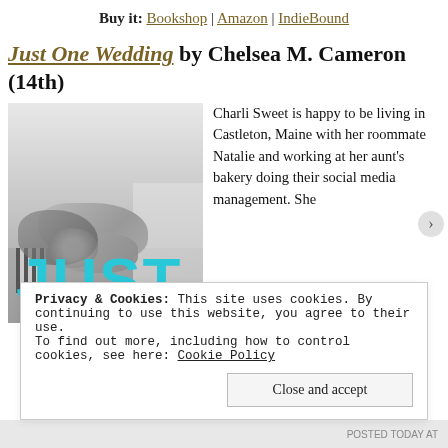Buy it: Bookshop | Amazon | IndieBound
Just One Wedding by Chelsea M. Cameron (14th)
[Figure (photo): Book cover of Just One Wedding showing clasped hands in black and white with large cyan JUST text at bottom]
Charli Sweet is happy to be living in Castleton, Maine with her roommate Natalie and working at her aunt’s bakery doing their social media management. She
Privacy & Cookies: This site uses cookies. By continuing to use this website, you agree to their use.
To find out more, including how to control cookies, see here: Cookie Policy
Close and accept